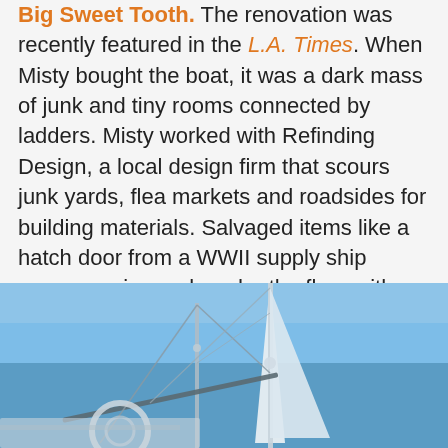Big Sweet Tooth. The renovation was recently featured in the L.A. Times. When Misty bought the boat, it was a dark mass of junk and tiny rooms connected by ladders. Misty worked with Refinding Design, a local design firm that scours junk yards, flea markets and roadsides for building materials. Salvaged items like a hatch door from a WWII supply ship covers a wine rack under the floor with a peekaboo view of the water, the metal ring of a wine barrel was turned into a chandelier, and the breakfast counter is a slab of wood with a base of plumbing pipes.
[Figure (photo): Looking up at sailboat masts against a bright blue sky, with rigging and structure visible.]